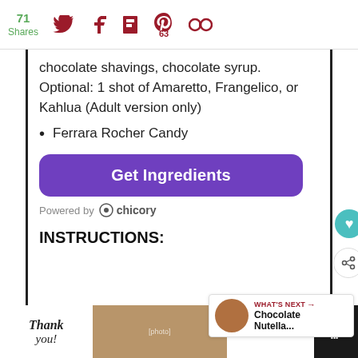71 Shares | Social share icons (Twitter, Facebook, Flipboard, Pinterest 63, circles)
chocolate shavings, chocolate syrup. Optional: 1 shot of Amaretto, Frangelico, or Kahlua (Adult version only)
Ferrara Rocher Candy
[Figure (other): Purple rounded-rectangle button reading 'Get Ingredients']
Powered by chicory
INSTRUCTIONS:
[Figure (other): What's Next promo box: circular thumbnail image of chocolate Nutella dish, label 'WHAT'S NEXT →', text 'Chocolate Nutella...']
[Figure (other): Bottom advertisement banner: 'Thank you!' Operation Gratitude ad with photo of medical workers, close button, and site logo]